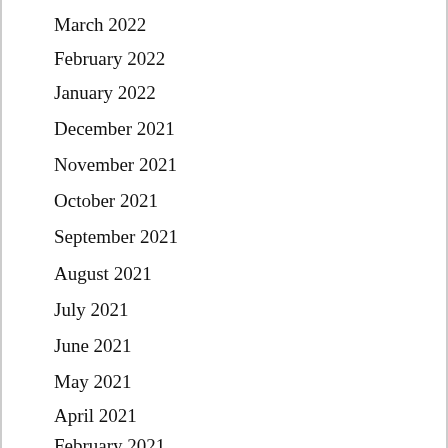March 2022
February 2022
January 2022
December 2021
November 2021
October 2021
September 2021
August 2021
July 2021
June 2021
May 2021
April 2021
February 2021